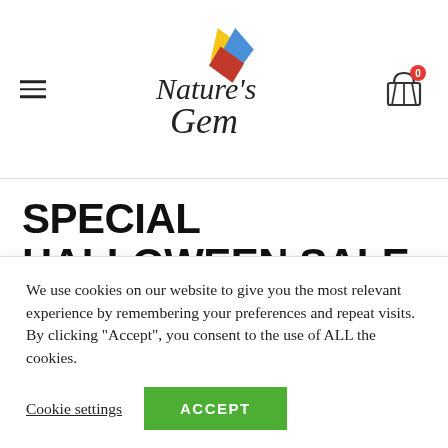[Figure (logo): Nature's Gem logo with colorful gemstone leaves (yellow, blue, red) above the text]
SPECIAL HALLOWEEN SALE
35% OFF all pet products now through October 31. Help your pets enjoy Halloween without the stressors using our pet CBD oil. Discount reflected in shop store – no
We use cookies on our website to give you the most relevant experience by remembering your preferences and repeat visits. By clicking "Accept", you consent to the use of ALL the cookies.
Cookie settings | ACCEPT